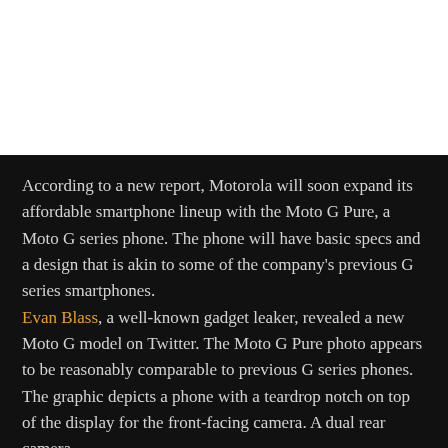[Figure (photo): White image area at top of page, likely a product photo placeholder]
According to a new report, Motorola will soon expand its affordable smartphone lineup with the Moto G Pure, a Moto G series phone. The phone will have basic specs and a design that is akin to some of the company's previous G series smartphones.
Evan Blass, a well-known gadget leaker, revealed a new Moto G model on Twitter. The Moto G Pure photo appears to be reasonably comparable to previous G series phones.
The graphic depicts a phone with a teardrop notch on top of the display for the front-facing camera. A dual rear camera